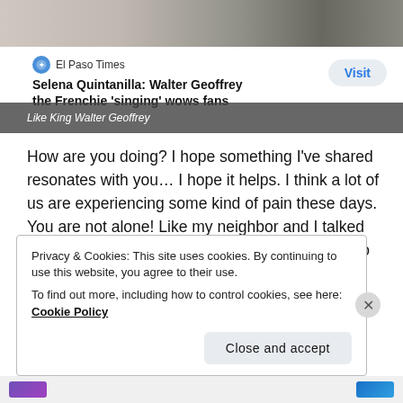[Figure (photo): Close-up photo of animal fur, appears to be a dog with white and dark fur visible at the top of the page]
El Paso Times
Selena Quintanilla: Walter Geoffrey the Frenchie 'singing' wows fans
How are you doing? I hope something I've shared resonates with you… I hope it helps. I think a lot of us are experiencing some kind of pain these days. You are not alone! Like my neighbor and I talked about the other day, the only way we are going to get through these times is together. One of the mottos for Grace
Privacy & Cookies: This site uses cookies. By continuing to use this website, you agree to their use.
To find out more, including how to control cookies, see here: Cookie Policy
Close and accept